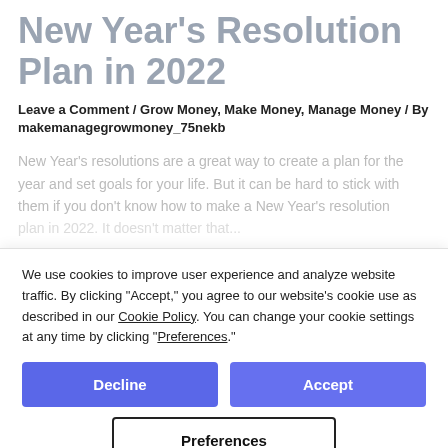New Year's Resolution Plan in 2022
Leave a Comment / Grow Money, Make Money, Manage Money / By makemanagegrowmoney_75nekb
New Year's resolutions are a great way to create a plan for the year and set goals for your life. But it can be hard to stick with them if you don't know how to make a New Year's resolution plan in 2022. It doesn't matter that...
We use cookies to improve user experience and analyze website traffic. By clicking "Accept," you agree to our website's cookie use as described in our Cookie Policy. You can change your cookie settings at any time by clicking "Preferences."
Decline
Accept
Preferences